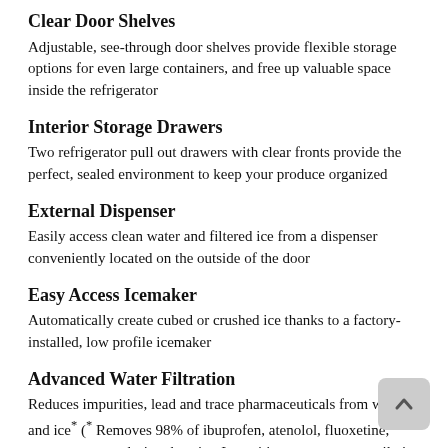Clear Door Shelves
Adjustable, see-through door shelves provide flexible storage options for even large containers, and free up valuable space inside the refrigerator
Interior Storage Drawers
Two refrigerator pull out drawers with clear fronts provide the perfect, sealed environment to keep your produce organized
External Dispenser
Easily access clean water and filtered ice from a dispenser conveniently located on the outside of the door
Easy Access Icemaker
Automatically create cubed or crushed ice thanks to a factory-installed, low profile icemaker
Advanced Water Filtration
Reduces impurities, lead and trace pharmaceuticals from water and ice* (* Removes 98% of ibuprofen, atenolol, fluoxetine, progesterone and trimethoprim. Impurities are not necessarily in all users' water)